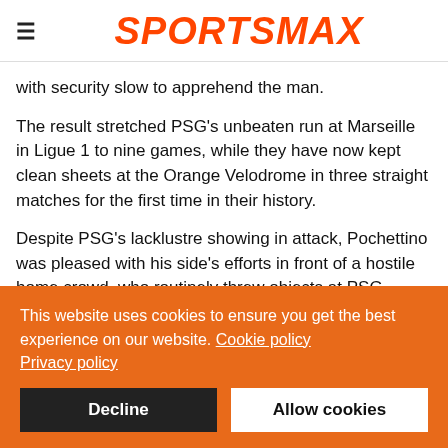SPORTSMAX
with security slow to apprehend the man.
The result stretched PSG's unbeaten run at Marseille in Ligue 1 to nine games, while they have now kept clean sheets at the Orange Velodrome in three straight matches for the first time in their history.
Despite PSG's lacklustre showing in attack, Pochettino was pleased with his side's efforts in front of a hostile home crowd, who routinely threw objects at PSG players as they took
This website uses cookies to ensure you get the best experience on our website. Cookie policy
Privacy policy
Decline
Allow cookies